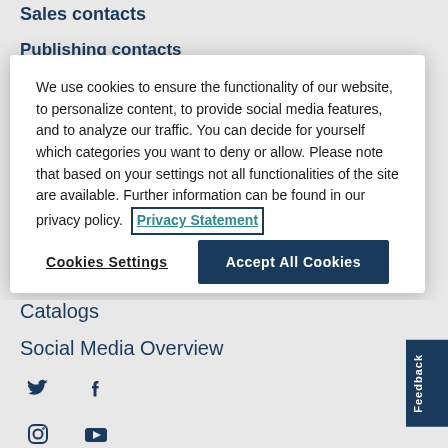Sales contacts
Publishing contacts
We use cookies to ensure the functionality of our website, to personalize content, to provide social media features, and to analyze our traffic. You can decide for yourself which categories you want to deny or allow. Please note that based on your settings not all functionalities of the site are available. Further information can be found in our privacy policy. Privacy Statement
Cookies Settings
Accept All Cookies
Catalogs
Social Media Overview
[Figure (other): Social media icons: Twitter (bird), Facebook (f), Instagram (camera), YouTube (play button)]
Feedback